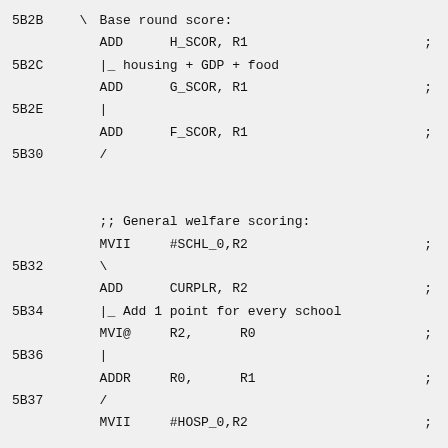5B2B  \  Base round score:
        ADD      H_SCOR, R1             ;
5B2C  |_ housing + GDP + food
        ADD      G_SCOR, R1             ;
5B2E  |
        ADD      F_SCOR, R1             ;
5B30  /

        ;; General welfare scoring:
        MVII     #SCHL_0,R2             ;
5B32  \
        ADD      CURPLR, R2             ;
5B34  |_ Add 1 point for every school
        MVI@     R2,      R0            ;
5B36  |
        ADDR     R0,      R1            ;
5B37  /
        MVII     #HOSP_0,R2             ;